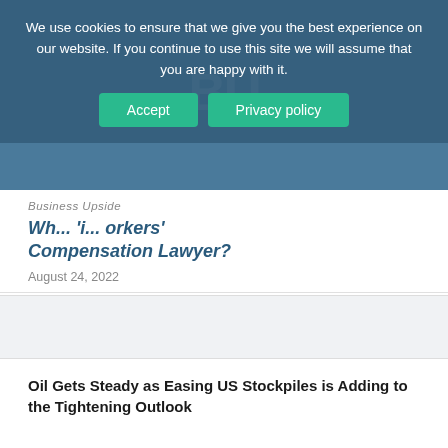We use cookies to ensure that we give you the best experience on our website. If you continue to use this site we will assume that you are happy with it.
Accept | Privacy policy
Business Upside
Wh... 'i... orkers' Compensation Lawyer?
August 24, 2022
Oil Gets Steady as Easing US Stockpiles is Adding to the Tightening Outlook